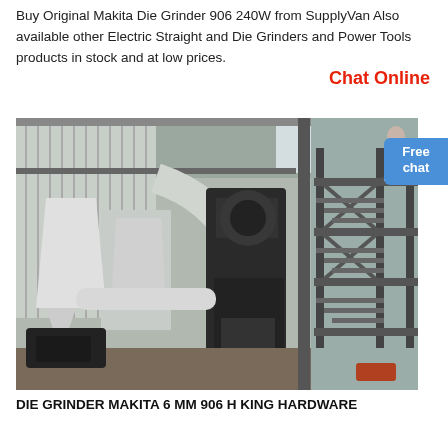Buy Original Makita Die Grinder 906 240W from SupplyVan Also available other Electric Straight and Die Grinders and Power Tools products in stock and at low prices.
Chat Online
[Figure (photo): Industrial grinding or milling machinery inside a large factory or warehouse building, showing large equipment with ducts, hoppers, and a structural steel staircase on the right.]
DIE GRINDER MAKITA 6 MM 906 H KING HARDWARE